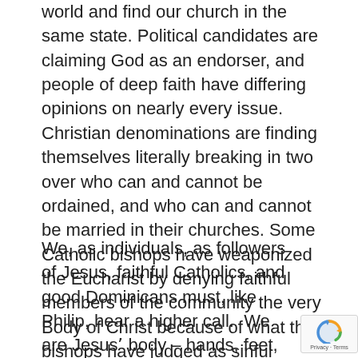world and find our church in the same state. Political candidates are claiming God as an endorser, and people of deep faith have differing opinions on nearly every issue. Christian denominations are finding themselves literally breaking in two over who can and cannot be ordained, and who can and cannot be married in their churches. Some Catholic bishops have weaponized the Eucharist by denying faithful members of the community the very Body of Christ because of what the bishops have judged as sinful opinions, and some clergy have used the pulpit to tell people who they must vote for if they are to be considered “good Catholics.”
We, as individuals, as followers of Jesus, faithful Catholics, and good Dominicans must, like Philip, hear a higher call.  We are Jesusʼ body – hands, feet, eyes, voice – and as such, our responsibility is to reach out and share the Living Bread in